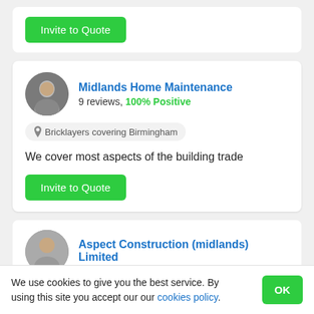Invite to Quote
Midlands Home Maintenance
9 reviews, 100% Positive
Bricklayers covering Birmingham
We cover most aspects of the building trade
Invite to Quote
Aspect Construction (midlands) Limited
We use cookies to give you the best service. By using this site you accept our our cookies policy.